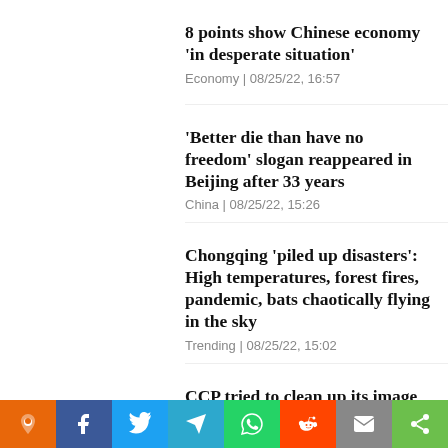8 points show Chinese economy 'in desperate situation'
Economy | 08/25/22, 16:57
'Better die than have no freedom' slogan reappeared in Beijing after 33 years
China | 08/25/22, 15:26
Chongqing 'piled up disasters': High temperatures, forest fires, pandemic, bats chaotically flying in the sky
Trending | 08/25/22, 15:02
CCP tried to clean up its image with falsely awarded documentary on Hong Kong
Share toolbar: Pinpoint, Facebook, Twitter, Telegram, WhatsApp, Reddit, Email, Share